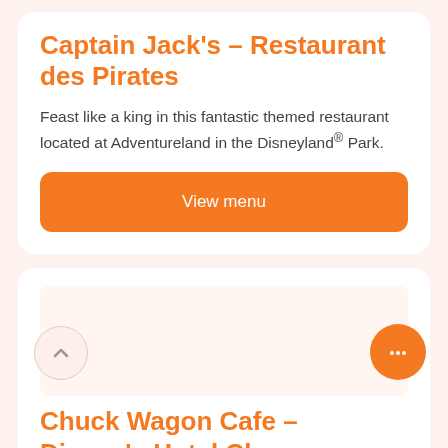Captain Jack's – Restaurant des Pirates
Feast like a king in this fantastic themed restaurant located at Adventureland in the Disneyland® Park.
View menu
[Figure (illustration): Second card image area (blank/light background)]
Chuck Wagon Cafe – Disney's Hotel Ch...